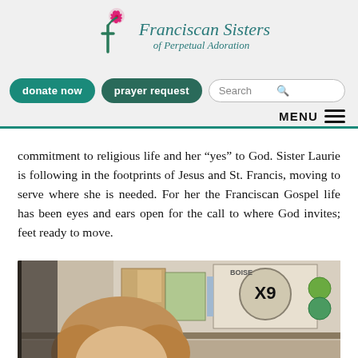[Figure (logo): Franciscan Sisters of Perpetual Adoration logo with rose and cross, teal/magenta colors]
donate now | prayer request | Search | MENU
commitment to religious life and her "yes" to God. Sister Laurie is following in the footprints of Jesus and St. Francis, moving to serve where she is needed. For her the Franciscan Gospel life has been eyes and ears open for the call to where God invites; feet ready to move.
[Figure (photo): Photo of a woman (Sister Laurie) in front of shelves with boxes including a Boise X-9 box]